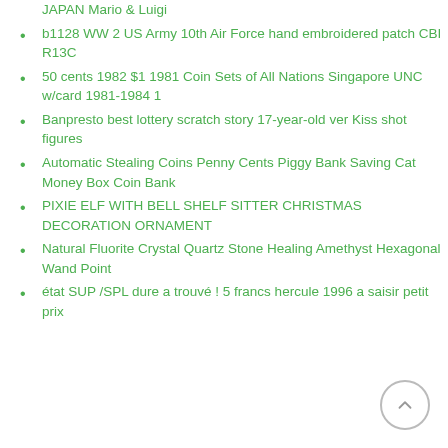JAPAN Mario & Luigi
b1128 WW 2 US Army 10th Air Force hand embroidered patch CBI R13C
50 cents 1982 $1 1981 Coin Sets of All Nations Singapore UNC w/card 1981-1984 1
Banpresto best lottery scratch story 17-year-old ver Kiss shot figures
Automatic Stealing Coins Penny Cents Piggy Bank Saving Cat Money Box Coin Bank
PIXIE ELF WITH BELL SHELF SITTER CHRISTMAS DECORATION ORNAMENT
Natural Fluorite Crystal Quartz Stone Healing Amethyst Hexagonal Wand Point
état SUP /SPL dure a trouvé ! 5 francs hercule 1996 a saisir petit prix